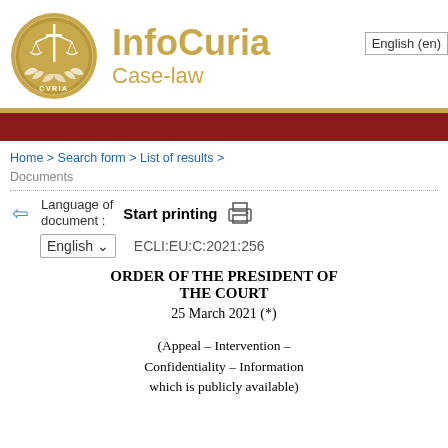[Figure (logo): CURIA court seal/logo — circular gold badge with scales of justice, sword, and laurel wreath, text CVRIA]
InfoCuria
Case-law
Home > Search form > List of results > Documents
Language of document : English  ECLI:EU:C:2021:256
Start printing
ORDER OF THE PRESIDENT OF THE COURT
25 March 2021 (*)
(Appeal – Intervention – Confidentiality – Information which is publicly available)